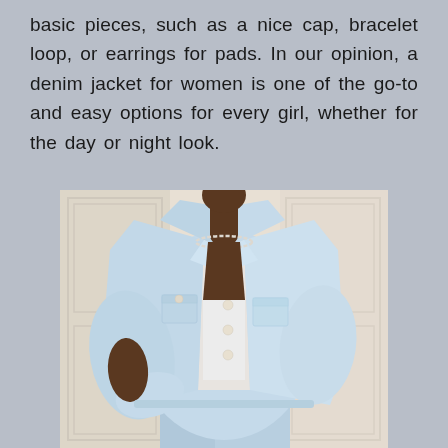basic pieces, such as a nice cap, bracelet loop, or earrings for pads. In our opinion, a denim jacket for women is one of the go-to and easy options for every girl, whether for the day or night look.
[Figure (photo): A woman wearing a light blue oversized denim jacket open over a white crop top, with matching light blue denim jeans, wearing a pearl necklace, leaning against a white paneled wall.]